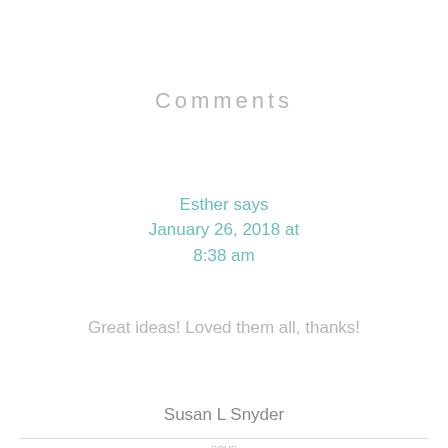Comments
Esther says
January 26, 2018 at
8:38 am
Great ideas! Loved them all, thanks!
Susan L Snyder says
August 11, 2020 at